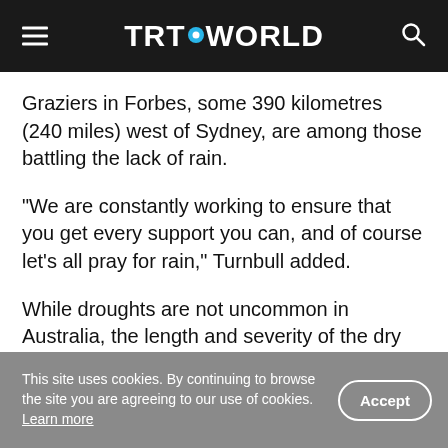TRT WORLD
Graziers in Forbes, some 390 kilometres (240 miles) west of Sydney, are among those battling the lack of rain.
"We are constantly working to ensure that you get every support you can, and of course let's all pray for rain," Turnbull added.
While droughts are not uncommon in Australia, the length and severity of the dry conditions have depleted farmers' food stocks.
This site uses cookies. By continuing to browse the site you are agreeing to our use of cookies. Learn more  Accept